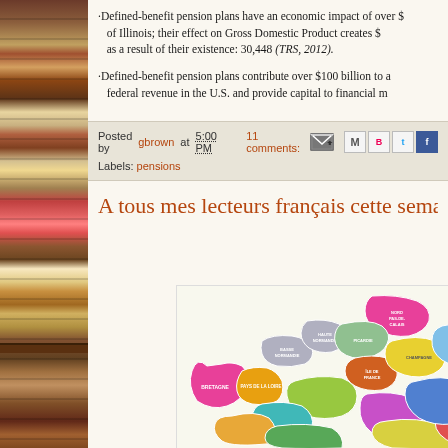·Defined-benefit pension plans have an economic impact of over [value] of Illinois; their effect on Gross Domestic Product creates $ [value] as a result of their existence: 30,448 (TRS, 2012).
·Defined-benefit pension plans contribute over $100 billion to a [value] federal revenue in the U.S. and provide capital to financial m[arkets]
Posted by gbrown at 5:00 PM    11 comments:
Labels: pensions
A tous mes lecteurs français cette sema[ine]
[Figure (map): Map of France showing regions with different colors, including Nord-Pas-de-Calais, Haute-Normandie, Basse-Normandie, Picardie, Île-de-France, and other French regions highlighted in various colors (pink, green, yellow, gray, orange).]